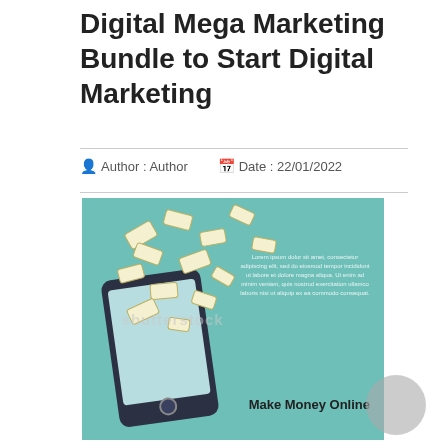Digital Mega Marketing Bundle to Start Digital Marketing
Author : Author   Date : 22/01/2022
[Figure (illustration): Teal/mint background infographic showing a smartphone with money bills flying out of the screen, watermark 'shutterstock', lorem ipsum placeholder text on the right, and 'Make Money Online' text at the bottom right.]